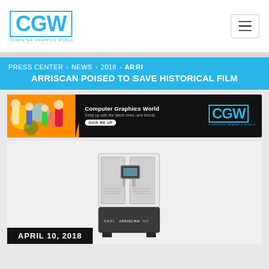CGW — Computer Graphics World
PRESS CENTER > NEWS > 2018 > ARRI ARRISCAN POISED TO SAVE HISTORICAL FILM
[Figure (illustration): Computer Graphics World newsletter sign-up advertisement banner with animated characters on left (Toy Story), CGW logo on right, SIGN ME UP button in center]
[Figure (photo): ARRISCAN film scanning machine — tall white cabinet scanner with dark bottom panel labeled ARRI and ARRISCAN]
APRIL 10, 2018